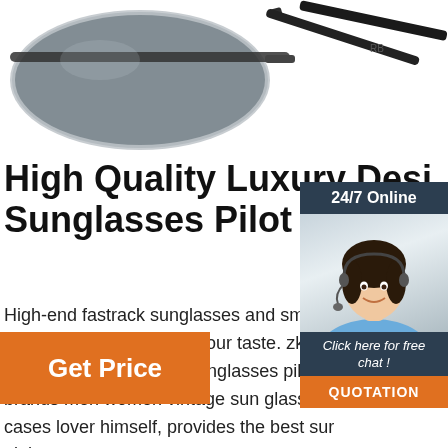[Figure (photo): Partial view of sunglasses from above, showing lens and temple arms against white background]
High Quality Luxury Designer Sunglasses Pilot Fashion
High-end fastrack sunglasses and smith sunglasses various models to show your taste. zkkcxw high quality luxury designer sunglasses pilot fashion brands men women vintage sun glasses with cases lover himself, provides the best sunglasses night.
[Figure (photo): Chat widget with woman wearing headset, 24/7 Online label, Click here for free chat text, and QUOTATION button]
[Figure (other): Orange TOP icon with dots forming an arch above the text TOP]
Get Price